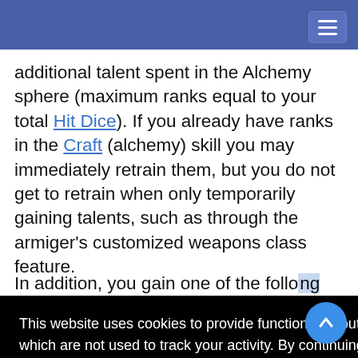additional talent spent in the Alchemy sphere (maximum ranks equal to your total Hit Dice). If you already have ranks in the Craft (alchemy) skill you may immediately retrain them, but you do not get to retrain when only temporarily gaining talents, such as through the armiger's customized weapons class feature.
In addition, you gain one of the following packages:
This website uses cookies to provide functionality, but which are not used to track your activity. By continuing to use this site, you agree to the use of these cookies. However, in addition to this, you may opt into your activity being tracked in order to help us improve our service. For more information, please click here
OK  No, thank you